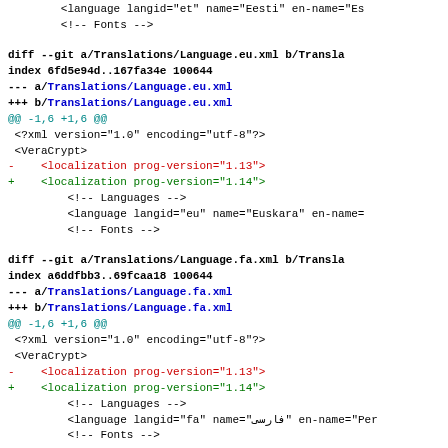<language langid="et" name="Eesti" en-name="Es
    <!-- Fonts -->
diff --git a/Translations/Language.eu.xml b/Transla
index 6fd5e94d..167fa34e 100644
--- a/Translations/Language.eu.xml
+++ b/Translations/Language.eu.xml
@@ -1,6 +1,6 @@
  <?xml version="1.0" encoding="utf-8"?>
  <VeraCrypt>
-    <localization prog-version="1.13">
+    <localization prog-version="1.14">
          <!-- Languages -->
          <language langid="eu" name="Euskara" en-name=
          <!-- Fonts -->
diff --git a/Translations/Language.fa.xml b/Transla
index a6ddfbb3..69fcaa18 100644
--- a/Translations/Language.fa.xml
+++ b/Translations/Language.fa.xml
@@ -1,6 +1,6 @@
  <?xml version="1.0" encoding="utf-8"?>
  <VeraCrypt>
-    <localization prog-version="1.13">
+    <localization prog-version="1.14">
          <!-- Languages -->
          <language langid="fa" name="فارسی" en-name="Per
          <!-- Fonts -->
diff --git a/Translations/Language.fi.xml b/Transla
index 42f4524f..49f9656c 100644